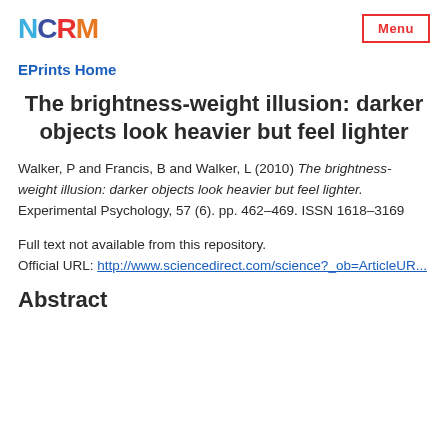NCRM | Menu
EPrints Home
The brightness-weight illusion: darker objects look heavier but feel lighter
Walker, P and Francis, B and Walker, L (2010) The brightness-weight illusion: darker objects look heavier but feel lighter. Experimental Psychology, 57 (6). pp. 462-469. ISSN 1618-3169
Full text not available from this repository.
Official URL: http://www.sciencedirect.com/science?_ob=ArticleUR...
Abstract